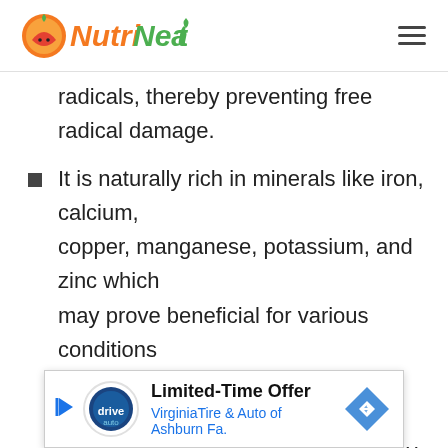NutriNeat
radicals, thereby preventing free radical damage.
It is naturally rich in minerals like iron, calcium, copper, manganese, potassium, and zinc which may prove beneficial for various conditions including hypertension, heart diseases, diabetes, arthritis, asthma, anemia, and kidney problems.
It contains a plant chemical known as proanthocyanidin, which is extremely effective against free radicals and other harmful toxins. It strengthens the immune system, and he[lps in fighting infection].
[Figure (other): Advertisement banner for Virginia Tire & Auto of Ashburn Fa. with Limited-Time Offer text]